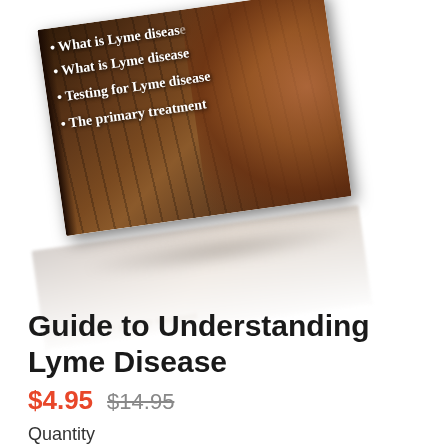[Figure (illustration): A 3D rendered book cover for 'Guide to Understanding Lyme Disease' shown at an angle with a forest/nature background. The book lists bullet points: What is Lyme disease, Testing for Lyme disease, The primary treatment. A mirror reflection of the book appears below.]
Guide to Understanding Lyme Disease
$4.95  $14.95
Quantity